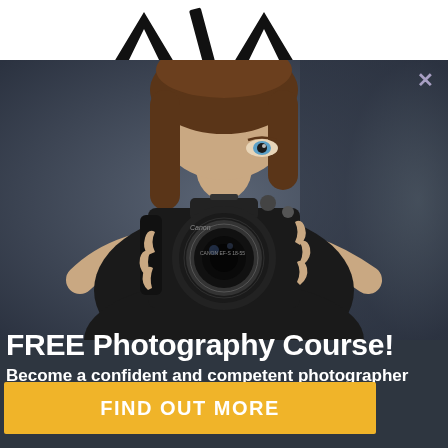[Figure (logo): AV/A logo letters in black on white background at top of page]
[Figure (photo): Woman in black top holding a DSLR camera up to her face aimed at viewer, dark blurred background, modal popup style with close X button in top right]
FREE Photography Course!
Become a confident and competent photographer in less than 60 seconds a day!
FIND OUT MORE